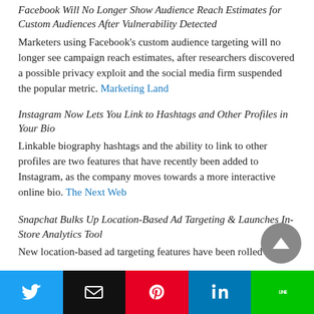Facebook Will No Longer Show Audience Reach Estimates for Custom Audiences After Vulnerability Detected
Marketers using Facebook's custom audience targeting will no longer see campaign reach estimates, after researchers discovered a possible privacy exploit and the social media firm suspended the popular metric. Marketing Land
Instagram Now Lets You Link to Hashtags and Other Profiles in Your Bio
Linkable biography hashtags and the ability to link to other profiles are two features that have recently been added to Instagram, as the company moves towards a more interactive online bio. The Next Web
Snapchat Bulks Up Location-Based Ad Targeting & Launches In-Store Analytics Tool
New location-based ad targeting features have been rolled
[Figure (other): Share bar with Twitter, Email, Pinterest, LinkedIn, and LINE buttons]